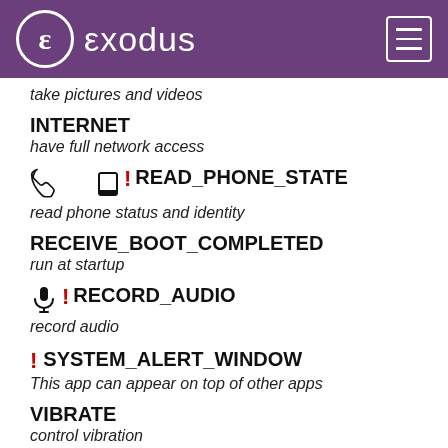exodus
take pictures and videos
INTERNET
have full network access
READ_PHONE_STATE
read phone status and identity
RECEIVE_BOOT_COMPLETED
run at startup
RECORD_AUDIO
record audio
SYSTEM_ALERT_WINDOW
This app can appear on top of other apps
VIBRATE
control vibration